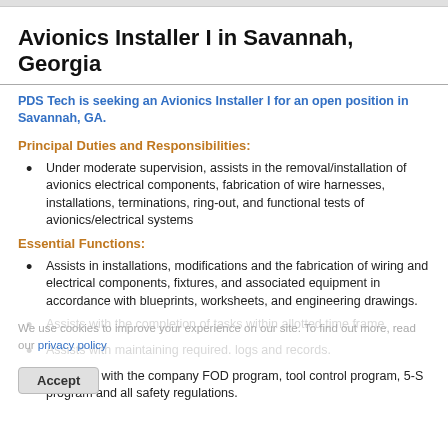Avionics Installer I in Savannah, Georgia
PDS Tech is seeking an Avionics Installer I for an open position in Savannah, GA.
Principal Duties and Responsibilities:
Under moderate supervision, assists in the removal/installation of avionics electrical components, fabrication of wire harnesses, installations, terminations, ring-out, and functional tests of avionics/electrical systems
Essential Functions:
Assists in installations, modifications and the fabrication of wiring and electrical components, fixtures, and associated equipment in accordance with blueprints, worksheets, and engineering drawings.
Assists with the completion of tasks within allotted time frame.
Assists with maintaining required. logs and records.
Complies with the company FOD program, tool control program, 5-S program and all safety regulations.